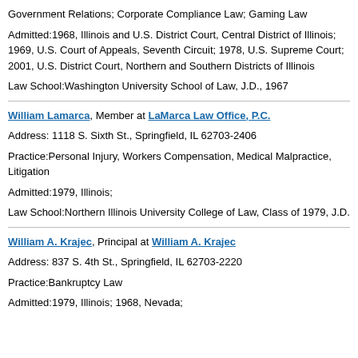Government Relations; Corporate Compliance Law; Gaming Law
Admitted:1968, Illinois and U.S. District Court, Central District of Illinois; 1969, U.S. Court of Appeals, Seventh Circuit; 1978, U.S. Supreme Court; 2001, U.S. District Court, Northern and Southern Districts of Illinois
Law School:Washington University School of Law, J.D., 1967
William Lamarca, Member at LaMarca Law Office, P.C.
Address: 1118 S. Sixth St., Springfield, IL 62703-2406
Practice:Personal Injury, Workers Compensation, Medical Malpractice, Litigation
Admitted:1979, Illinois;
Law School:Northern Illinois University College of Law, Class of 1979, J.D.
William A. Krajec, Principal at William A. Krajec
Address: 837 S. 4th St., Springfield, IL 62703-2220
Practice:Bankruptcy Law
Admitted:1979, Illinois; 1968, Nevada;